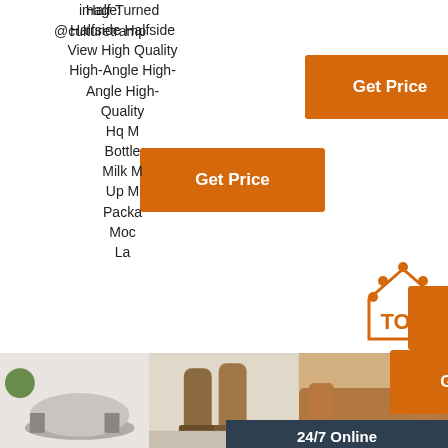image: @culturetramp
[Figure (other): Orange Get Price button (top center)]
[Figure (other): Orange Get Price button (left)]
Half-Turned Halfside Halfside View High Quality High-Angle High-Angle High Quality Hq Milk Bottle Milk Milk Up Milk Packaging Mock La
[Figure (other): 24/7 online chat widget with agent photo, 'Click here for free chat!' text, and QUOTATION button]
[Figure (other): Orange Get Price button (bottom right area)]
[Figure (other): TOP badge with orange dots and house icon]
[Figure (photo): Bottom row of three product images: fluffy grey chair, brown boots, brown leather sofa]